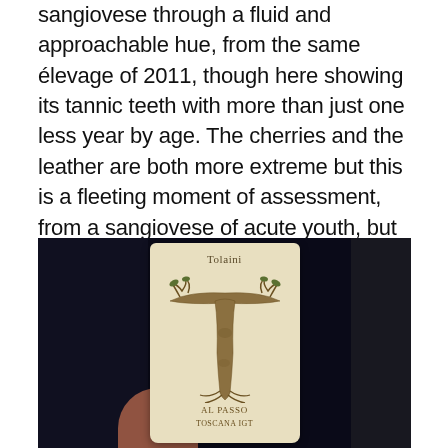sangiovese through a fluid and approachable hue, from the same élevage of 2011, though here showing its tannic teeth with more than just one less year by age. The cherries and the leather are both more extreme but this is a fleeting moment of assessment, from a sangiovese of acute youth, but the tannins are sweet. It is this crux that shows there is genetic lineage to scroll back through Chianti Classico and CC Riserva. More perfume in 2012, of violets and roses, even in the presence of human aromatic intervention. Drink 2018-2028.  Tasted May 2016
[Figure (photo): A wine bottle being held, showing a label with an ornate letter T made to look like a tree or vine, on a cream/beige label background. The background is dark/black.]